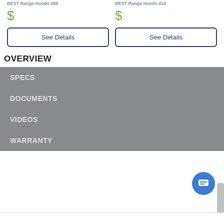BEST Range Hoods 488
$
See Details
BEST Range Hoods 418
$
See Details
OVERVIEW
SPECS
DOCUMENTS
VIDEOS
WARRANTY